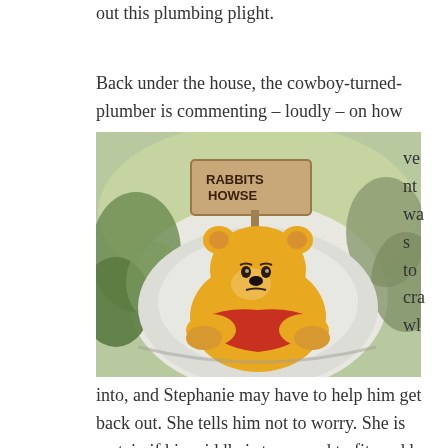out this plumbing plight.
Back under the house, the cowboy-turned-plumber is commenting – loudly – on how tight the vent was to crawl into, and Stephanie may have to help him get back out. She tells him not to worry. She is certain if his middle is too round to fit, and he has to remain wedged there for several days in a great tightness, she will be certain to visit every day and feed him honey until Christopher Robin can help with the
[Figure (illustration): Illustration of Winnie the Pooh stuck in a hole/burrow entrance, with a wooden sign reading 'RABBITS HOWSE' and surrounding foliage]